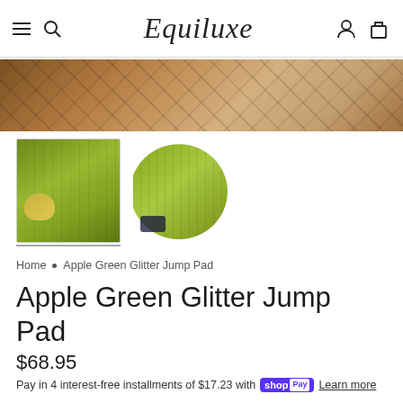Equiluxe
[Figure (photo): Banner photo showing wooden lattice/fence structure with tan background]
[Figure (photo): Thumbnail 1: Apple green glitter jump pad displayed on wooden stand with small yellow pad]
[Figure (photo): Thumbnail 2: Apple green glitter jump pad shown alone against white background]
Home • Apple Green Glitter Jump Pad
Apple Green Glitter Jump Pad
$68.95
Pay in 4 interest-free installments of $17.23 with shop Pay Learn more